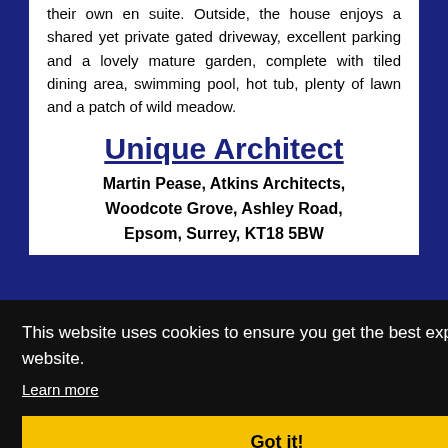their own en suite. Outside, the house enjoys a shared yet private gated driveway, excellent parking and a lovely mature garden, complete with tiled dining area, swimming pool, hot tub, plenty of lawn and a patch of wild meadow.
Unique Architect
Martin Pease, Atkins Architects, Woodcote Grove, Ashley Road, Epsom, Surrey, KT18 5BW
This website uses cookies to ensure you get the best experience on our website.
Learn more
Got it!
design projects.